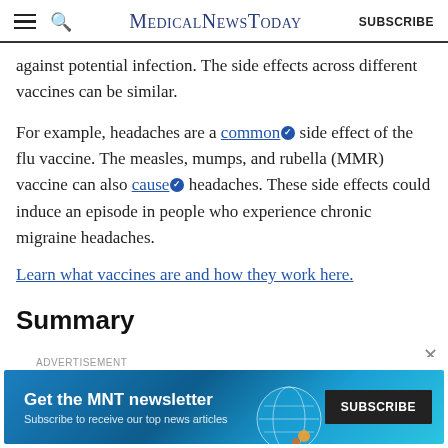MedicalNewsToday | SUBSCRIBE
against potential infection. The side effects across different vaccines can be similar.
For example, headaches are a common side effect of the flu vaccine. The measles, mumps, and rubella (MMR) vaccine can also cause headaches. These side effects could induce an episode in people who experience chronic migraine headaches.
Learn what vaccines are and how they work here.
Summary
[Figure (other): Advertisement banner for MNT newsletter: 'Get the MNT newsletter - Subscribe to receive our top news articles' with a SUBSCRIBE button on dark background, featuring a globe graphic.]